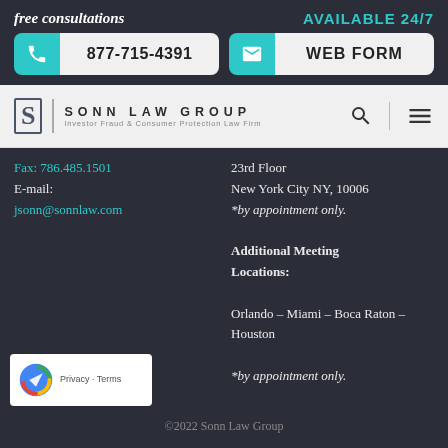free consultations
AVAILABLE 24/7
877-715-4391
WEB FORM
SONN LAW GROUP — Investor Fraud & Consumer Protection Law Firm
Fax: 786.485.1501
E-mail:
jsonn@sonnlaw.com
23rd Floor
New York City NY, 10006
*by appointment only.

Additional Meeting Locations:

Orlando – Miami – Boca Raton – Houston

*by appointment only.
©2022 Sonn Law Group